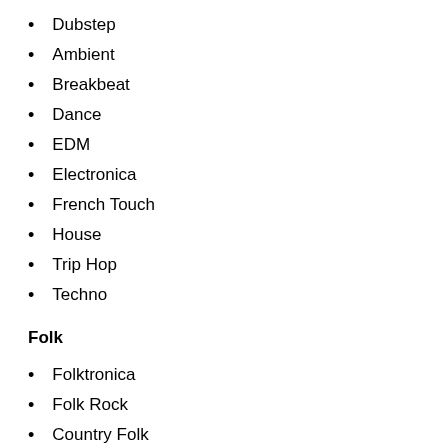Dubstep
Ambient
Breakbeat
Dance
EDM
Electronica
French Touch
House
Trip Hop
Techno
Folk
Folktronica
Folk Rock
Country Folk
Folk